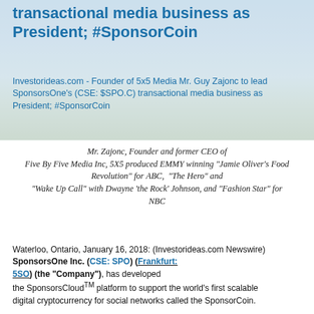transactional media business as President; #SponsorCoin
Investorideas.com - Founder of 5x5 Media Mr. Guy Zajonc to lead SponsorsOne's (CSE: $SPO.C) transactional media business as President; #SponsorCoin
Mr. Zajonc, Founder and former CEO of Five By Five Media Inc, 5X5 produced EMMY winning "Jamie Oliver's Food Revolution" for ABC, "The Hero" and "Wake Up Call" with Dwayne 'the Rock' Johnson, and "Fashion Star" for NBC
Waterloo, Ontario, January 16, 2018: (Investorideas.com Newswire) SponsorsOne Inc. (CSE: SPO) (Frankfurt: 5SO) (the "Company"), has developed the SponsorsCloud™ platform to support the world's first scalable digital cryptocurrency for social networks called the SponsorCoin.